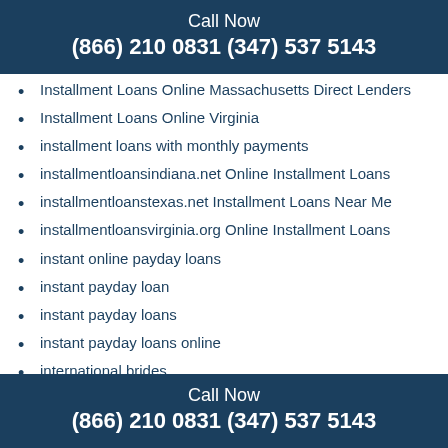Call Now
(866) 210 0831 (347) 537 5143
Installment Loans Online Massachusetts Direct Lenders
Installment Loans Online Virginia
installment loans with monthly payments
installmentloansindiana.net Online Installment Loans
installmentloanstexas.net Installment Loans Near Me
installmentloansvirginia.org Online Installment Loans
instant online payday loans
instant payday loan
instant payday loans
instant payday loans online
international brides
international dating
internet bride
internet payday loans
interracial dating
interracial-dating.net dating-free-site-online
Interracialcupid login
Call Now
(866) 210 0831 (347) 537 5143